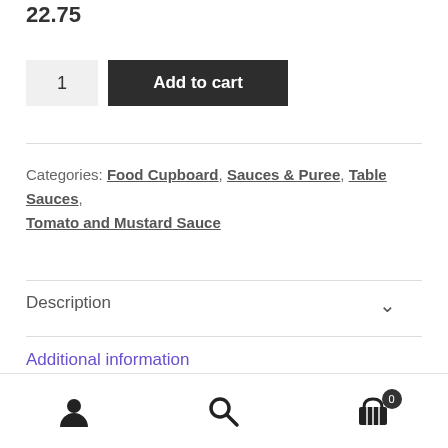22.75
1  Add to cart
Categories: Food Cupboard, Sauces & Puree, Table Sauces, Tomato and Mustard Sauce
Description
Additional information
user icon | search icon | cart icon (0)